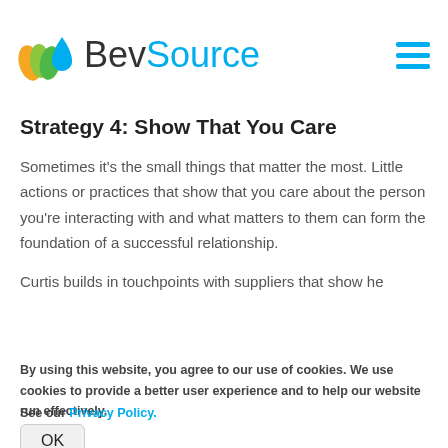BevSource
Strategy 4: Show That You Care
Sometimes it's the small things that matter the most. Little actions or practices that show that you care about the person you're interacting with and what matters to them can form the foundation of a successful relationship.
Curtis builds in touchpoints with suppliers that show he
By using this website, you agree to our use of cookies. We use cookies to provide a better user experience and to help our website run effectively.
See our Privacy Policy.
OK